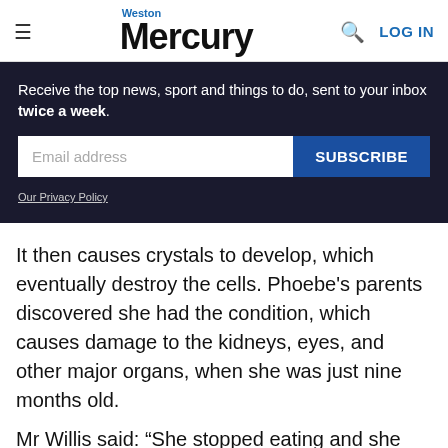≡  Weston Mercury  🔍  LOG IN
Receive the top news, sport and things to do, sent to your inbox twice a week.
Email address  SUBSCRIBE
Our Privacy Policy
It then causes crystals to develop, which eventually destroy the cells. Phoebe's parents discovered she had the condition, which causes damage to the kidneys, eyes, and other major organs, when she was just nine months old.
Mr Willis said: “She stopped eating and she was